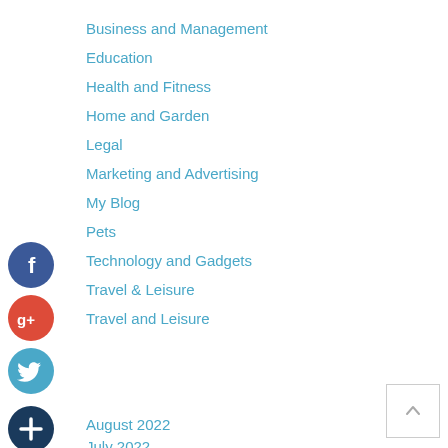Business and Management
Education
Health and Fitness
Home and Garden
Legal
Marketing and Advertising
My Blog
Pets
Technology and Gadgets
Travel & Leisure
Travel and Leisure
[Figure (logo): Facebook social icon - dark blue circle with white 'f']
[Figure (logo): Google+ social icon - red circle with white 'g+']
[Figure (logo): Twitter social icon - light blue circle with white bird]
[Figure (logo): Add/plus social icon - dark navy circle with white '+']
August 2022
July 2022
June 2022
May 2022